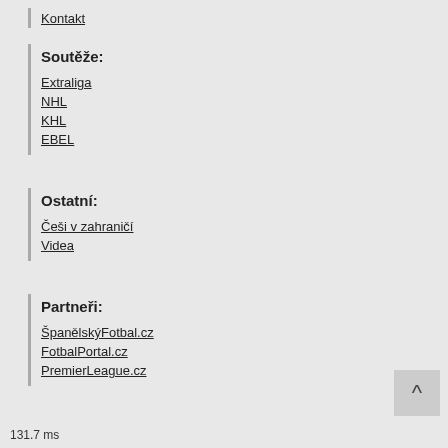Kontakt
Soutěže:
Extraliga
NHL
KHL
EBEL
Ostatní:
Češi v zahraničí
Videa
Partneři:
ŠpanělskýFotbal.cz
FotbalPortal.cz
PremierLeague.cz
131.7 ms